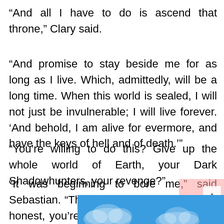“And all I have to do is ascend that throne,” Clary said.
“And promise to stay beside me for as long as I live. Which, admittedly, will be a long time. When this world is sealed, I will not just be invulnerable; I will live forever. ‘And behold, I am alive for evermore, and have the keys of hell and of death.’”
“You’re willing to do this? Give up the whole world of Earth, your Dark Shadowhunters, your revenge?”
“It was beginning to bore me,” said Sebastian. “This is more interesting. To be honest, you’re beginning to bore me a bit too. Do decide whether you’re going… Or do you r…